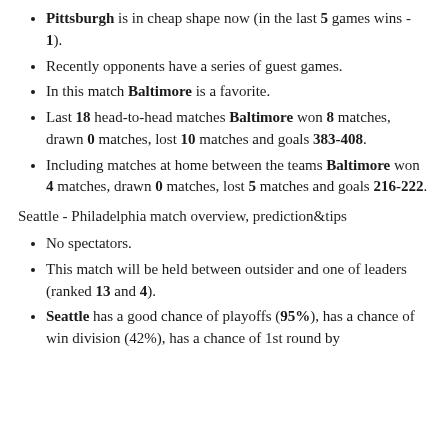Pittsburgh is in cheap shape now (in the last 5 games wins - 1).
Recently opponents have a series of guest games.
In this match Baltimore is a favorite.
Last 18 head-to-head matches Baltimore won 8 matches, drawn 0 matches, lost 10 matches and goals 383-408.
Including matches at home between the teams Baltimore won 4 matches, drawn 0 matches, lost 5 matches and goals 216-222.
Seattle - Philadelphia match overview, prediction&tips
No spectators.
This match will be held between outsider and one of leaders (ranked 13 and 4).
Seattle has a good chance of playoffs (95%), has a chance of win division (42%), has a chance of 1st round by...